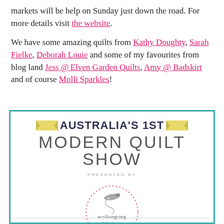markets will be help on Sunday just down the road. For more details visit the website.
We have some amazing quilts from Kathy Doughty, Sarah Fielke, Deborah Louie and some of my favourites from blog land Jess @ Elven Garden Quilts, Amy @ Badskirt and of course Molli Sparkles!
[Figure (illustration): Australia's 1st Modern Quilt Show promotional poster with teal border, yellow ribbon banners, large bold title text, 'Presented by' text, and Wollongong Modern Quilt Guild circular logo with needle and thread graphic.]